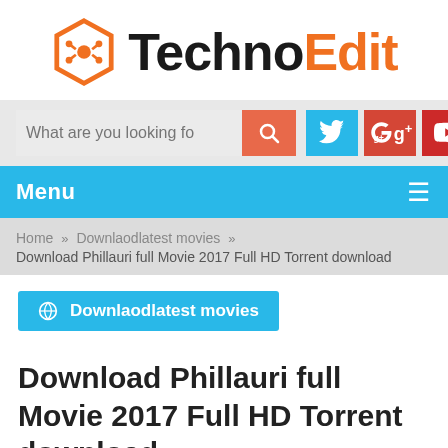[Figure (logo): TechnoEdit website logo with orange hexagon circuit board icon and text 'TechnoEdit' where 'Techno' is black and 'Edit' is orange]
[Figure (screenshot): Search bar with 'What are you looking fo' placeholder text, orange search button, and three social media icon buttons: Twitter (blue), Google+ (red), YouTube (red)]
[Figure (screenshot): Blue menu navigation bar with 'Menu' text on left and hamburger icon on right]
Home » Downlaodlatest movies » Download Phillauri full Movie 2017 Full HD Torrent download
[Figure (screenshot): Blue category badge button with globe icon reading 'Downlaodlatest movies']
Download Phillauri full Movie 2017 Full HD Torrent download